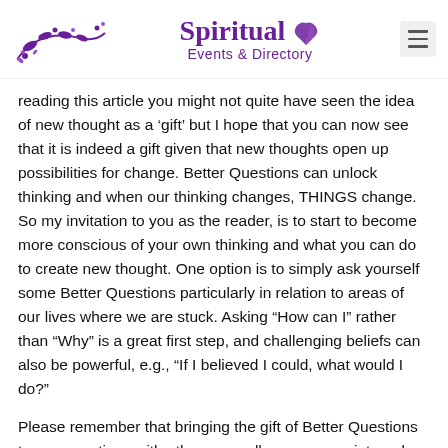Spiritual Events & Directory
reading this article you might not quite have seen the idea of new thought as a ‘gift’ but I hope that you can now see that it is indeed a gift given that new thoughts open up possibilities for change. Better Questions can unlock thinking and when our thinking changes, THINGS change. So my invitation to you as the reader, is to start to become more conscious of your own thinking and what you can do to create new thought. One option is to simply ask yourself some Better Questions particularly in relation to areas of our lives where we are stuck. Asking “How can I” rather than “Why” is a great first step, and challenging beliefs can also be powerful, e.g., “If I believed I could, what would I do?”
Please remember that bringing the gift of Better Questions to conversations with others as well as your own internal